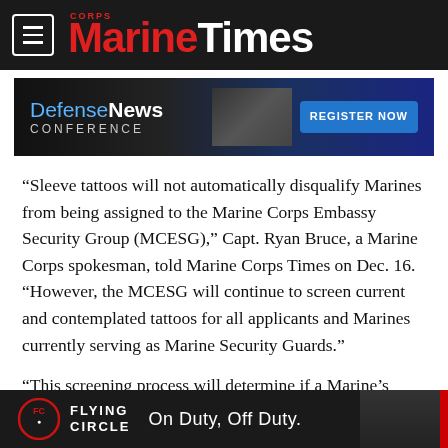Marine Corps Times
[Figure (screenshot): Defense News Conference - Register Now advertisement banner]
“Sleeve tattoos will not automatically disqualify Marines from being assigned to the Marine Corps Embassy Security Group (MCESG),” Capt. Ryan Bruce, a Marine Corps spokesman, told Marine Corps Times on Dec. 16. “However, the MCESG will continue to screen current and contemplated tattoos for all applicants and Marines currently serving as Marine Security Guards.”
“This screening process will determine if a Marine’s tattoos are
[Figure (screenshot): Flying Circle - On Duty, Off Duty. advertisement banner]